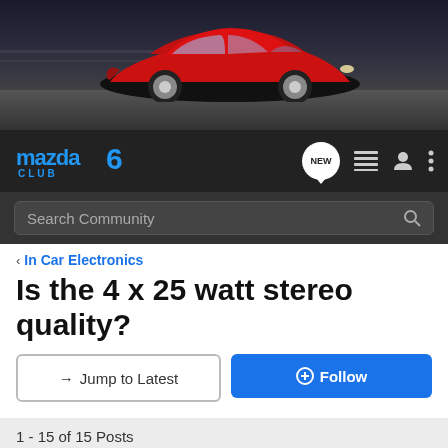[Figure (photo): Red Mazda 6 car on dark background with motion blur, header banner image for Mazda6 Club forum]
mazda6 CLUB — NEW [icon] [icon] [icon] — Search Community
< In Car Electronics
Is the 4 x 25 watt stereo quality?
→ Jump to Latest   ⊕ Follow
1 - 15 of 15 Posts
Marco di Vaio · Registered
Joined Nov 11, 2002 · 22 Posts